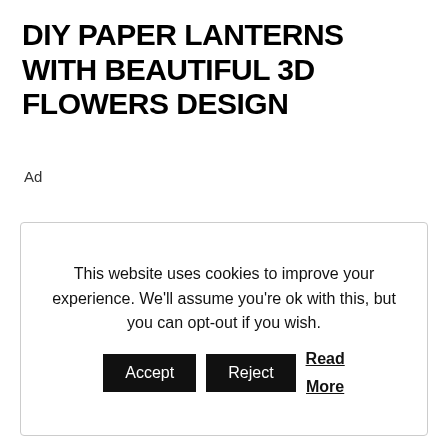DIY PAPER LANTERNS WITH BEAUTIFUL 3D FLOWERS DESIGN
Ad
This website uses cookies to improve your experience. We'll assume you're ok with this, but you can opt-out if you wish. Accept Reject Read More